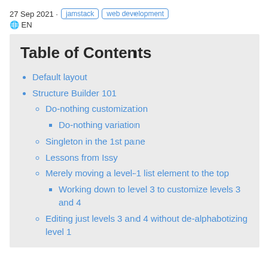27 Sep 2021 · jamstack web development · EN
Table of Contents
Default layout
Structure Builder 101
Do-nothing customization
Do-nothing variation
Singleton in the 1st pane
Lessons from Issy
Merely moving a level-1 list element to the top
Working down to level 3 to customize levels 3 and 4
Editing just levels 3 and 4 without de-alphabotizing level 1